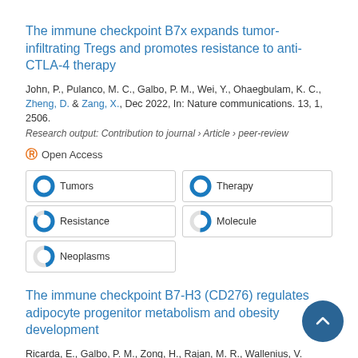The immune checkpoint B7x expands tumor-infiltrating Tregs and promotes resistance to anti-CTLA-4 therapy
John, P., Pulanco, M. C., Galbo, P. M., Wei, Y., Ohaegbulam, K. C., Zheng, D. & Zang, X., Dec 2022, In: Nature communications. 13, 1, 2506.
Research output: Contribution to journal › Article › peer-review
Open Access
Tumors
Therapy
Resistance
Molecule
Neoplasms
The immune checkpoint B7-H3 (CD276) regulates adipocyte progenitor metabolism and obesity development
Ricarda, E., Galbo, P. M., Zong, H., Rajan, M. R., Wallenius, V.